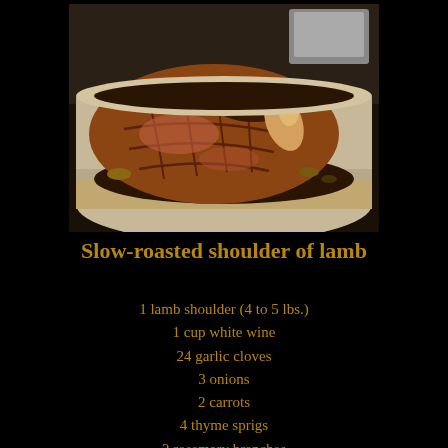[Figure (photo): A slow-roasted lamb shoulder in a ceramic round dish, showing scored and browned meat with roasting juices around it]
Slow-roasted shoulder of lamb
1 lamb shoulder (4 to 5 lbs.)
1 cup white wine
24 garlic cloves
3 onions
2 carrots
4 thyme sprigs
2 rosemary branches
1 tsp. ground coriander seeds
1 t...